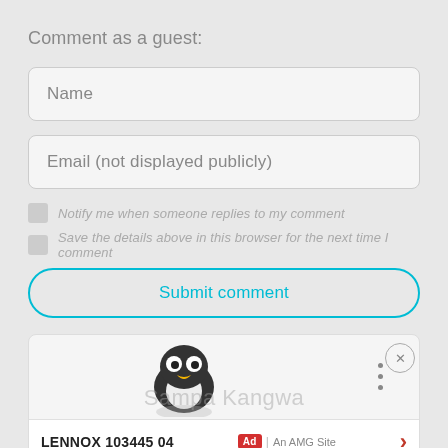Comment as a guest:
Name
Email (not displayed publicly)
Notify me when someone replies to my comment
Save the details above in this browser for the next time I comment
Submit comment
[Figure (screenshot): Ad banner with penguin mascot, close button, three-dot menu, LENNOX 103445 04 product ad with AMG Site attribution and Sampa Kangwa watermark text]